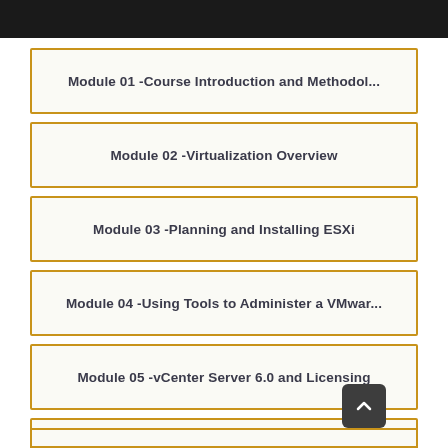Module 01 -Course Introduction and Methodol...
Module 02 -Virtualization Overview
Module 03 -Planning and Installing ESXi
Module 04 -Using Tools to Administer a VMwar...
Module 05 -vCenter Server 6.0 and Licensing
Module 06 -Configuring Networking